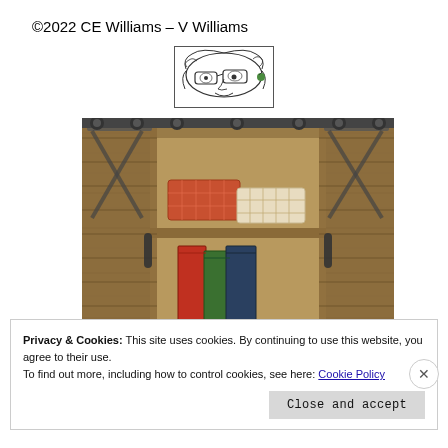©2022 CE Williams – V Williams
[Figure (logo): Stylized illustration of a woman's face with glasses and a green earring, black and white line art logo]
[Figure (photo): Rustic barn door style wooden cabinet with sliding doors open, showing shelves with decorative boxes and books]
Privacy & Cookies: This site uses cookies. By continuing to use this website, you agree to their use.
To find out more, including how to control cookies, see here: Cookie Policy
Close and accept